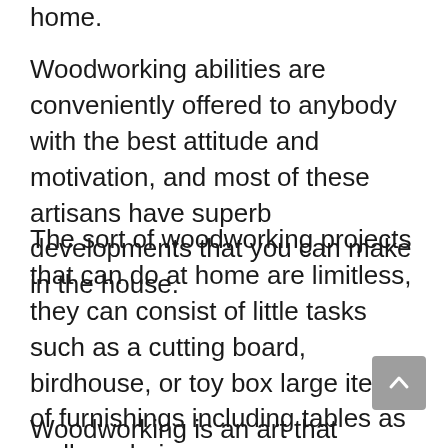home.
Woodworking abilities are conveniently offered to anybody with the best attitude and motivation, and most of these artisans have superb developments that you can make in the house.
The sort of woodworking projects that can do at home are limitless, they can consist of little tasks such as a cutting board, birdhouse, or toy box large items of furnishings including tables as well as chairs.
Woodworking is an art that always has